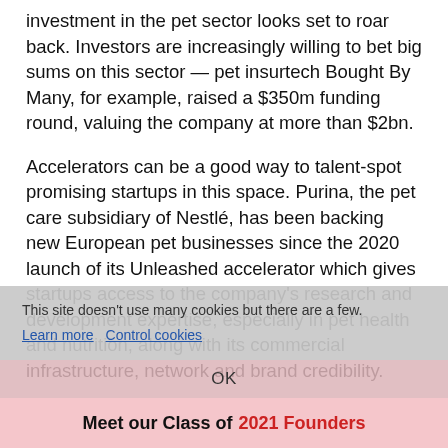investment in the pet sector looks set to roar back. Investors are increasingly willing to bet big sums on this sector — pet insurtech Bought By Many, for example, raised a $350m funding round, valuing the company at more than $2bn.
Accelerators can be a good way to talent-spot promising startups in this space. Purina, the pet care subsidiary of Nestlé, has been backing new European pet businesses since the 2020 launch of its Unleashed accelerator which gives startups access to the company's research and development expertise, especially in pet health and nutrition, along with its commercial infrastructure, network and brand credibility.
This site doesn't use many cookies but there are a few. Learn more  Control cookies
OK
Meet our Class of 2021 Founders